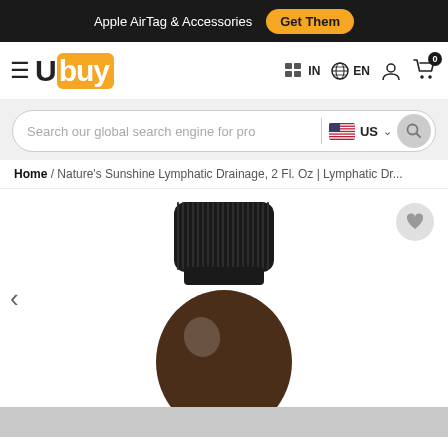Apple AirTag & Accessories  Get Them
[Figure (logo): Ubuy logo with hamburger menu, navigation icons for IN country, EN language, user account, and shopping cart with 0 items]
Search our global search engine for pro  US
Home / Nature's Sunshine Lymphatic Drainage, 2 Fl. Oz | Lymphatic Dr...
[Figure (photo): Brown glass dropper bottle with black ribbed screw cap, partially cropped, showing top portion of bottle on white background]